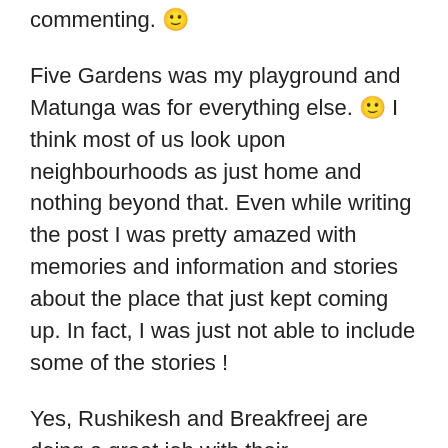commenting. 🙂
Five Gardens was my playground and Matunga was for everything else. 🙂 I think most of us look upon neighbourhoods as just home and nothing beyond that. Even while writing the post I was pretty amazed with memories and information and stories about the place that just kept coming up. In fact, I was just not able to include some of the stories !
Yes, Rushikesh and Breakfreej are doing a great job with their neighbourhoods walks and of places that not many people would think of as interesting. I mean, if I mention Matunga to an average Mumbaikar,